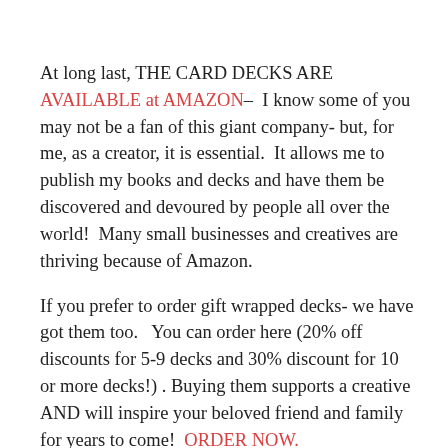At long last, THE CARD DECKS ARE AVAILABLE at AMAZON– I know some of you may not be a fan of this giant company- but, for me, as a creator, it is essential. It allows me to publish my books and decks and have them be discovered and devoured by people all over the world! Many small businesses and creatives are thriving because of Amazon.
If you prefer to order gift wrapped decks- we have got them too. You can order here (20% off discounts for 5-9 decks and 30% discount for 10 or more decks!) . Buying them supports a creative AND will inspire your beloved friend and family for years to come! ORDER NOW.